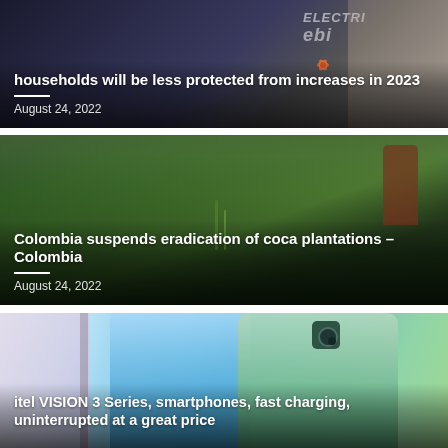[Figure (photo): News article card with dark background showing EBI electricity logo, with overlay text about households being less protected from increases in 2023]
households will be less protected from increases in 2023
August 24, 2022
[Figure (photo): News article card showing green coca plants growing from ground with forest background, two people visible in background]
Colombia suspends eradication of coca plantations – Colombia
August 24, 2022
[Figure (photo): News article card showing multiple smartphones from itel VISION 3 Series in blue and green colors]
itel VISION 3 Series, smartphones, fast charging, uninterrupted at a great price